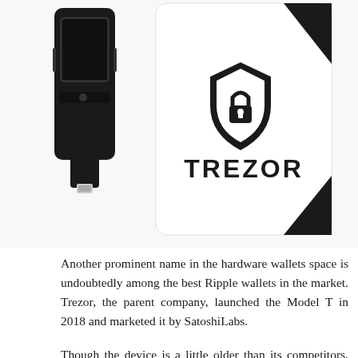[Figure (photo): Photo of Trezor hardware wallets: a black USB-style device on the left and a white rectangular device with the Trezor lock shield logo and bold TREZOR text on the right, on a white background.]
Another prominent name in the hardware wallets space is undoubtedly among the best Ripple wallets in the market. Trezor, the parent company, launched the Model T in 2018 and marketed it by SatoshiLabs.
Though the device is a little older than its competitors, Trezor doesn't set back in any way, thanks to its dedicated developer's team that offers regular software and security updates.